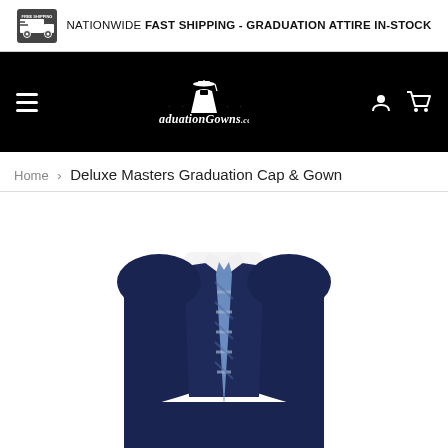NATIONWIDE FAST SHIPPING - GRADUATION ATTIRE IN-STOCK
[Figure (logo): GraduationGowns.co.uk website header with logo on black background, hamburger menu, user and cart icons]
Home › Deluxe Masters Graduation Cap & Gown
[Figure (photo): Deluxe Masters Graduation Cap and Gown product photo showing a navy blue academic gown and cap with white shirt and blue striped tie on a mannequin torso]